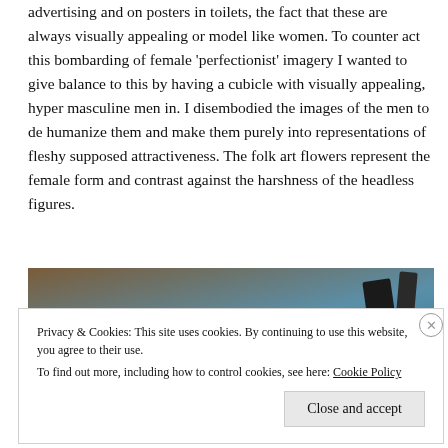advertising and on posters in toilets, the fact that these are always visually appealing or model like women. To counter act this bombarding of female 'perfectionist' imagery I wanted to give balance to this by having a cubicle with visually appealing, hyper masculine men in. I disembodied the images of the men to de humanize them and make them purely into representations of fleshy supposed attractiveness. The folk art flowers represent the female form and contrast against the harshness of the headless figures.
[Figure (photo): Partial photo visible behind cookie consent banner showing a brown wooden surface on the left and a blue background on the right with dark objects.]
Privacy & Cookies: This site uses cookies. By continuing to use this website, you agree to their use.
To find out more, including how to control cookies, see here: Cookie Policy
Close and accept